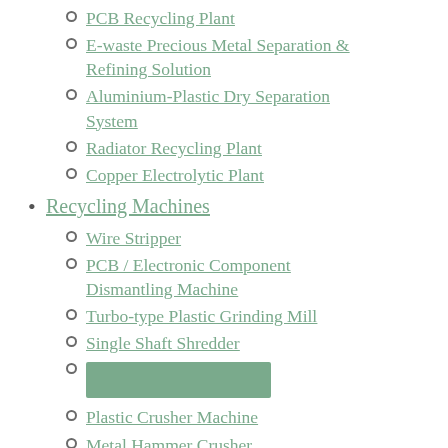PCB Recycling Plant
E-waste Precious Metal Separation & Refining Solution
Aluminium-Plastic Dry Separation System
Radiator Recycling Plant
Copper Electrolytic Plant
Recycling Machines
Wire Stripper
PCB / Electronic Component Dismantling Machine
Turbo-type Plastic Grinding Mill
Single Shaft Shredder
[highlighted block]
Plastic Crusher Machine
Metal Hammer Crusher
Air Gravity Separator
High Voltage Electrostatic Separator